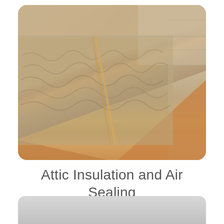[Figure (photo): Close-up photograph of attic insulation (fibrous batt/blown-in insulation) between wooden joists, with an orange/tan OSB or drywall sloped surface visible in the foreground. The image shows typical attic insulation installation with visible wood framing and block wall in the background.]
Attic Insulation and Air Sealing